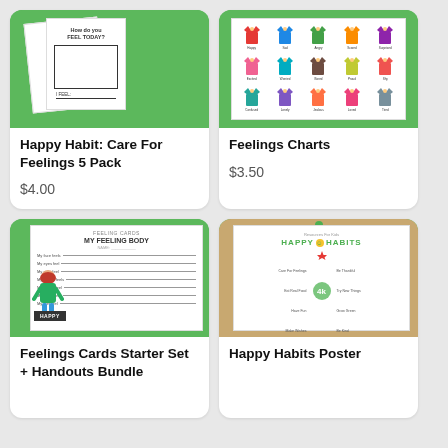[Figure (illustration): Product image: Happy Habit Care For Feelings 5 Pack worksheets on green background]
Happy Habit: Care For Feelings 5 Pack
$4.00
[Figure (illustration): Product image: Feelings Charts with cartoon characters on green background]
Feelings Charts
$3.50
[Figure (illustration): Product image: Feelings Cards My Feeling Body worksheet on green background]
Feelings Cards Starter Set + Handouts Bundle
[Figure (illustration): Product image: Happy Habits Poster on cork board background]
Happy Habits Poster